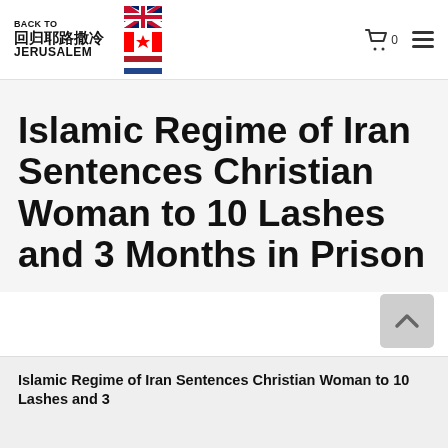BACK TO 回归耶路撒冷 JERUSALEM
Islamic Regime of Iran Sentences Christian Woman to 10 Lashes and 3 Months in Prison
Islamic Regime of Iran Sentences Christian Woman to 10 Lashes and 3